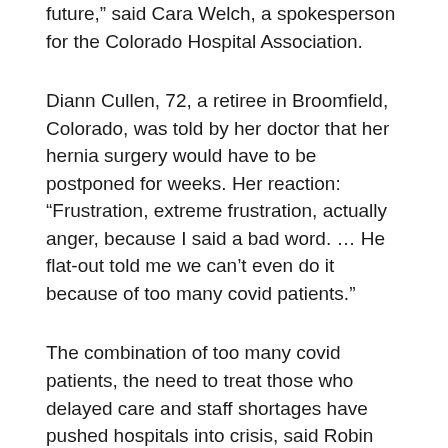future,” said Cara Welch, a spokesperson for the Colorado Hospital Association.
Diann Cullen, 72, a retiree in Broomfield, Colorado, was told by her doctor that her hernia surgery would have to be postponed for weeks. Her reaction: “Frustration, extreme frustration, actually anger, because I said a bad word. … He flat-out told me we can’t even do it because of too many covid patients.”
The combination of too many covid patients, the need to treat those who delayed care and staff shortages have pushed hospitals into crisis, said Robin Wittenstein, CEO of Denver Health, which runs one of the state’s biggest hospital and clinic systems.
“They’re coming into hospitals now sicker than ever